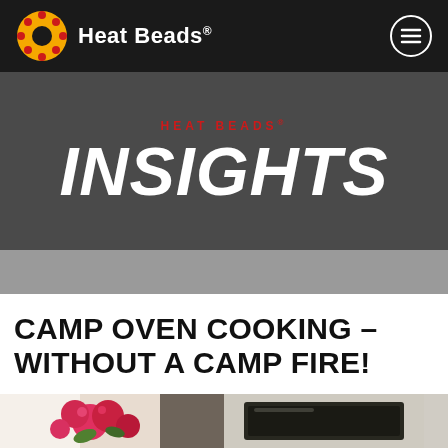Heat Beads® — Insights
HEAT BEADS® INSIGHTS
CAMP OVEN COOKING – WITHOUT A CAMP FIRE!
[Figure (photo): Bottom photo strip showing flowers on the left and a dark surface on the right]